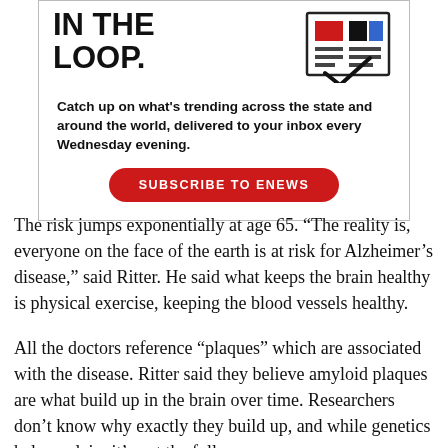[Figure (infographic): Newsletter subscription advertisement box with large bold text 'IN THE LOOP.' and a newspaper/layout icon in red, black, and blue. Body text reads: 'Catch up on what's trending across the state and around the world, delivered to your inbox every Wednesday evening.' Red subscribe button with text 'SUBSCRIBE TO ENEWS'.]
The risk jumps exponentially at age 65. “The reality is, everyone on the face of the earth is at risk for Alzheimer’s disease,” said Ritter. He said what keeps the brain healthy is physical exercise, keeping the blood vessels healthy.
All the doctors reference “plaques” which are associated with the disease. Ritter said they believe amyloid plaques are what build up in the brain over time. Researchers don’t know why exactly they build up, and while genetics help explain, it’s not the full answer.